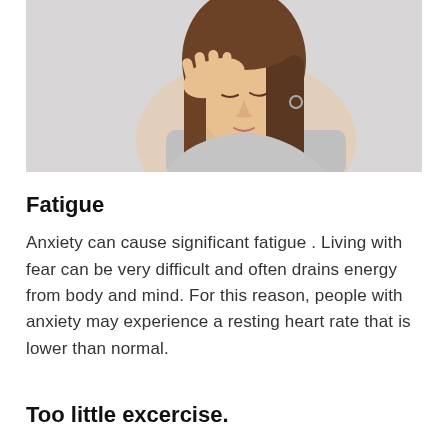[Figure (photo): Woman with long brown hair holding her hand to her forehead, eyes closed, appearing stressed or fatigued, against a light gray background.]
Fatigue
Anxiety can cause significant fatigue . Living with fear can be very difficult and often drains energy from body and mind. For this reason, people with anxiety may experience a resting heart rate that is lower than normal.
Too little excercise.